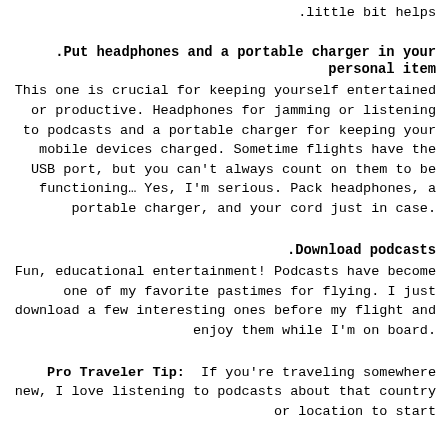.little bit helps
.Put headphones and a portable charger in your personal item
This one is crucial for keeping yourself entertained or productive. Headphones for jamming or listening to podcasts and a portable charger for keeping your mobile devices charged. Sometime flights have the USB port, but you can’t always count on them to be functioning… Yes, I’m serious. Pack headphones, a portable charger, and your cord just in case.
.Download podcasts
Fun, educational entertainment! Podcasts have become one of my favorite pastimes for flying. I just download a few interesting ones before my flight and enjoy them while I’m on board.
Pro Traveler Tip:  If you’re traveling somewhere new, I love listening to podcasts about that country or location to start